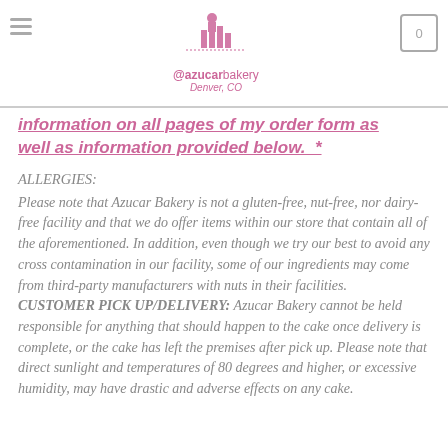@azucarbakery Denver, CO
information on all pages of my order form as well as information provided below. *
ALLERGIES:
Please note that Azucar Bakery is not a gluten-free, nut-free, nor dairy-free facility and that we do offer items within our store that contain all of the aforementioned. In addition, even though we try our best to avoid any cross contamination in our facility, some of our ingredients may come from third-party manufacturers with nuts in their facilities.
CUSTOMER PICK UP/DELIVERY: Azucar Bakery cannot be held responsible for anything that should happen to the cake once delivery is complete, or the cake has left the premises after pick up. Please note that direct sunlight and temperatures of 80 degrees and higher, or excessive humidity, may have drastic and adverse effects on any cake.